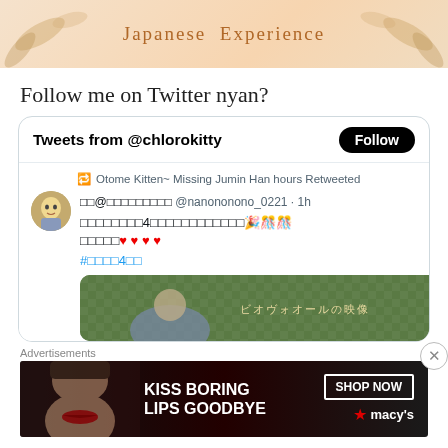[Figure (illustration): Decorative banner with peach/tan background, botanical leaf motifs, and text 'Japanese Experience' in a serif font]
Follow me on Twitter nyan?
[Figure (screenshot): Twitter widget showing 'Tweets from @chlorokitty' with a Follow button. Contains a retweet from 'Otome Kitten~ Missing Jumin Han hours Retweeted' of a Japanese tweet by @nanononono_0221 with emoji hearts and party poppers, a hashtag in Japanese, and a partial image of anime artwork on a green checkered background.]
Advertisements
[Figure (photo): Macy's advertisement banner: dark background with woman's face, bold white text 'KISS BORING LIPS GOODBYE', a 'SHOP NOW' button and Macy's star logo on the right]